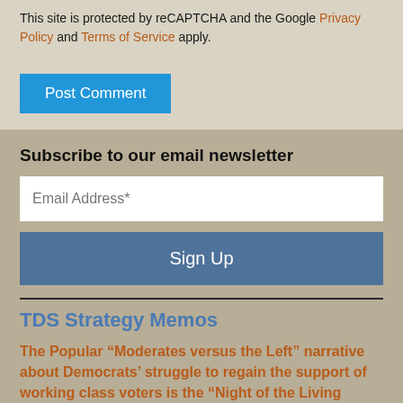This site is protected by reCAPTCHA and the Google Privacy Policy and Terms of Service apply.
Post Comment
Subscribe to our email newsletter
Email Address*
Sign Up
TDS Strategy Memos
The Popular “Moderates versus the Left” narrative about Democrats’ struggle to regain the support of working class voters is the “Night of the Living Dead” of American political